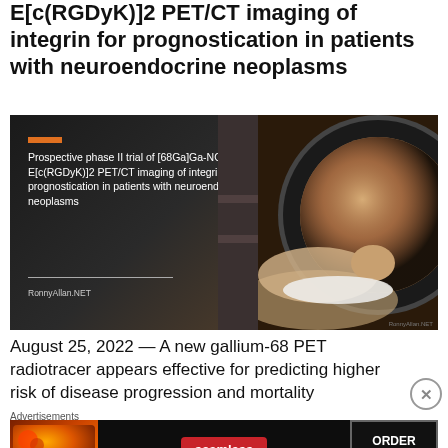E[c(RGDyK)]2 PET/CT imaging of integrin for prognostication in patients with neuroendocrine neoplasms
[Figure (photo): Presentation slide with dark background showing title text 'Prospective phase II trial of [68Ga]Ga-NODAGA-E[c(RGDyK)]2 PET/CT imaging of integrin for prognostication in patients with neuroendocrine neoplasms', an orange bar accent, RonnyAllan.NET credit, and a photo of a patient lying in a PET/CT scanner.]
August 25, 2022 — A new gallium-68 PET radiotracer appears effective for predicting higher risk of disease progression and mortality
[Figure (screenshot): Advertisement banner for Seamless food delivery service showing pizza image on left, Seamless logo in center, and ORDER NOW button on right.]